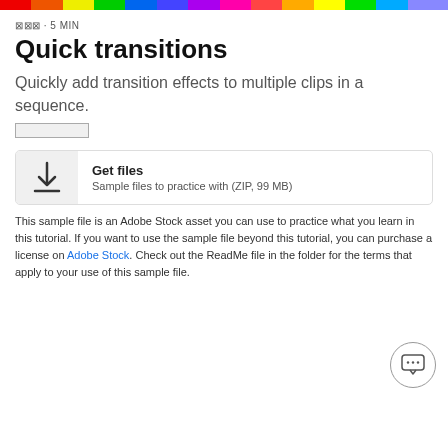[Figure (illustration): Rainbow gradient color bar across the top of the page]
⊠⊠⊠ · 5 MIN
Quick transitions
Quickly add transition effects to multiple clips in a sequence.
[Figure (illustration): Star rating placeholder (redacted)]
Get files
Sample files to practice with (ZIP, 99 MB)
This sample file is an Adobe Stock asset you can use to practice what you learn in this tutorial. If you want to use the sample file beyond this tutorial, you can purchase a license on Adobe Stock. Check out the ReadMe file in the folder for the terms that apply to your use of this sample file.